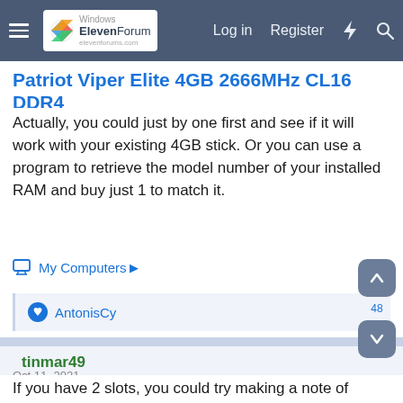Windows ElevenForum — Log in | Register
Patriot Viper Elite 4GB 2666MHz CL16 DDR4
Actually, you could just by one first and see if it will work with your existing 4GB stick. Or you can use a program to retrieve the model number of your installed RAM and buy just 1 to match it.
My Computers ▶
AntonisCy
tinmar49
Active member   Member
Oct 11, 2021
If you have 2 slots, you could try making a note of